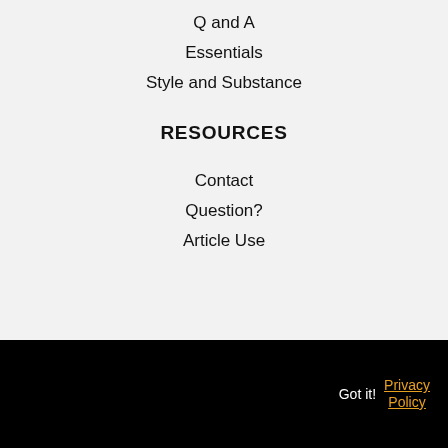Q and A
Essentials
Style and Substance
RESOURCES
Contact
Question?
Article Use
Got it!  Privacy Policy